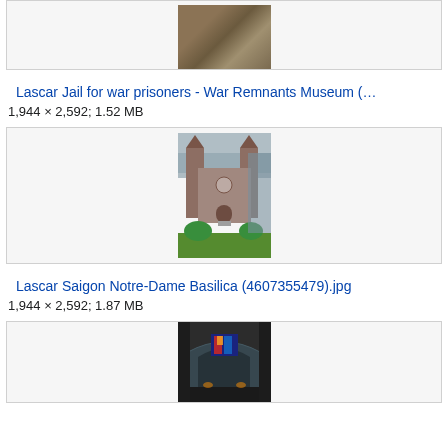[Figure (photo): Partial view of a photo showing a jail/prison stone wall texture - War Remnants Museum]
Lascar Jail for war prisoners - War Remnants Museum (…
1,944 × 2,592; 1.52 MB
[Figure (photo): Photo of Saigon Notre-Dame Basilica showing the twin red-brick towers with spires against a cloudy sky, with a statue in front and trees]
Lascar Saigon Notre-Dame Basilica (4607355479).jpg
1,944 × 2,592; 1.87 MB
[Figure (photo): Photo of church interior showing stone arches, stained glass window, and dark atmospheric lighting with candles]